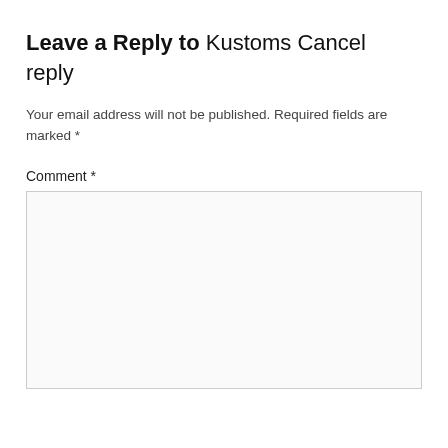Leave a Reply to Kustoms Cancel reply
Your email address will not be published. Required fields are marked *
Comment *